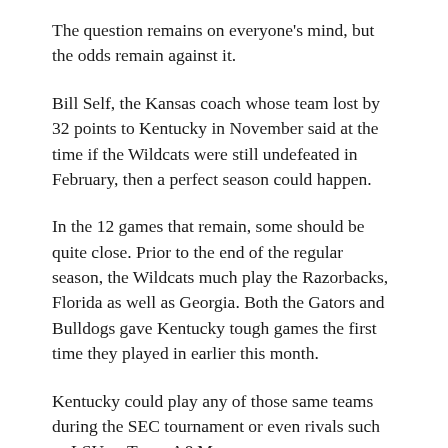The question remains on everyone's mind, but the odds remain against it.
Bill Self, the Kansas coach whose team lost by 32 points to Kentucky in November said at the time if the Wildcats were still undefeated in February, then a perfect season could happen.
In the 12 games that remain, some should be quite close. Prior to the end of the regular season, the Wildcats much play the Razorbacks, Florida as well as Georgia. Both the Gators and Bulldogs gave Kentucky tough games the first time they played in earlier this month.
Kentucky could play any of those same teams during the SEC tournament or even rivals such as LSU or Texas A&M.
If the Wildcats do make it out of the regular season and